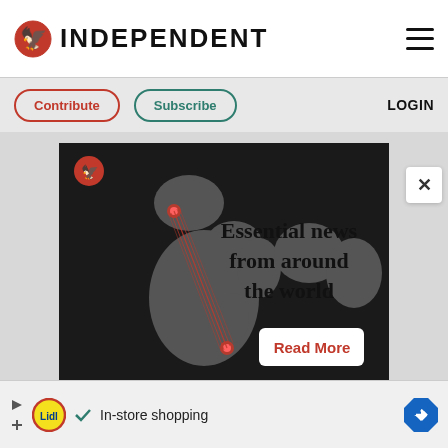INDEPENDENT
Contribute  Subscribe  LOGIN
[Figure (illustration): Dark world map advertisement with red route lines converging from Europe toward East Africa. Large serif text reads 'Essential news from around the world' with a 'Read More' button in white box with red text.]
[Figure (infographic): Lidl advertisement banner showing Lidl logo, checkmark, 'In-store shopping' text, and a blue navigation arrow icon.]